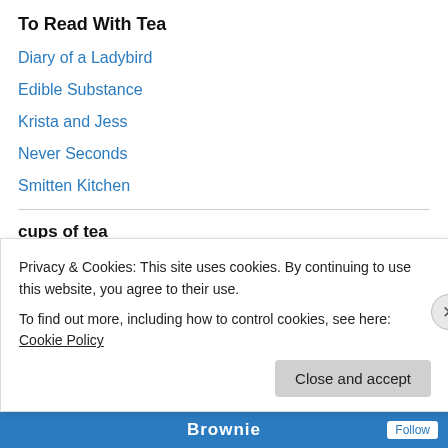To Read With Tea
Diary of a Ladybird
Edible Substance
Krista and Jess
Never Seconds
Smitten Kitchen
cups of tea
abortion Alex Salmond BBC BBC Question Time Better Together campaign Boris Johnson
Privacy & Cookies: This site uses cookies. By continuing to use this website, you agree to their use. To find out more, including how to control cookies, see here: Cookie Policy